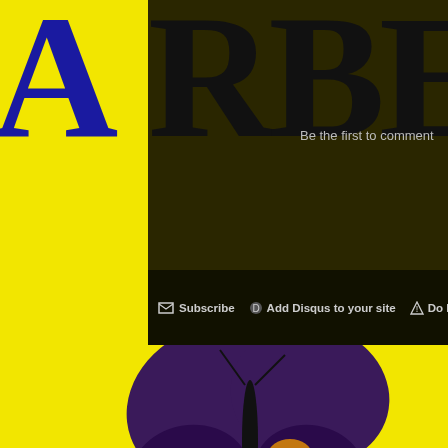[Figure (screenshot): Website screenshot showing partial ARBEL logo in dark navy on yellow and dark olive background, with Disqus comment toolbar showing Subscribe, Add Disqus to your site, and Do Not Sell options. Below is a yellow banner with a purple butterfly graphic. A green circular icon with a refresh/eye symbol overlays the left. The bottom section shows a dark footer with an Information navigation column listing About, Advertising, Contact, Marbella, Campaign Song links in pink italic, and a partial right column.]
Be the first to comment
Subscribe
Add Disqus to your site
Do Not Sell
Information
About
Advertising
Contact
Marbella
Campaign Song